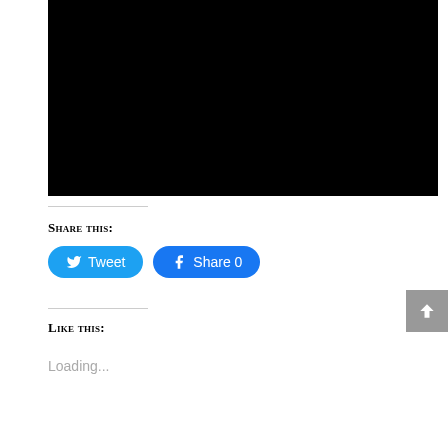[Figure (other): Black video/image placeholder rectangle]
Share this:
[Figure (other): Tweet button (blue rounded) and Share 0 button (blue rounded Facebook)]
Like this:
Loading...